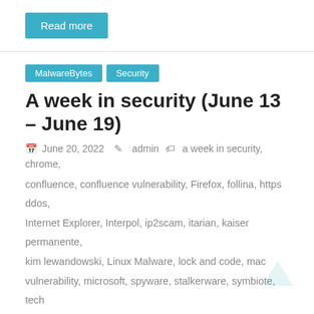Read more
MalwareBytes
Security
A week in security (June 13 – June 19)
June 20, 2022   admin   a week in security, chrome, confluence, confluence vulnerability, Firefox, follina, https ddos, Internet Explorer, Interpol, ip2scam, itarian, kaiser permanente, kim lewandowski, Linux Malware, lock and code, mac vulnerability, microsoft, spyware, stalkerware, symbiote, tech support scam
Credit to Author: Malwarebytes Labs| Date: Mon, 20 Jun 2022 09:49:33 +0000
The most important and interesting computer security